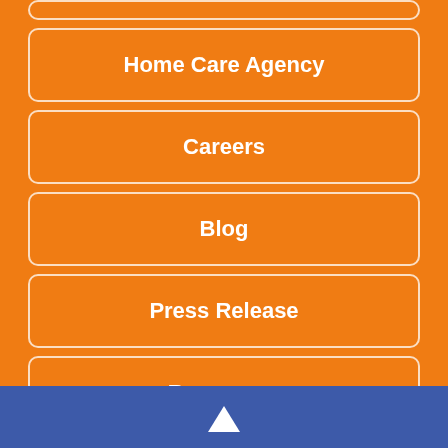Home Care Agency
Careers
Blog
Press Release
Resources
Contact Us
▲